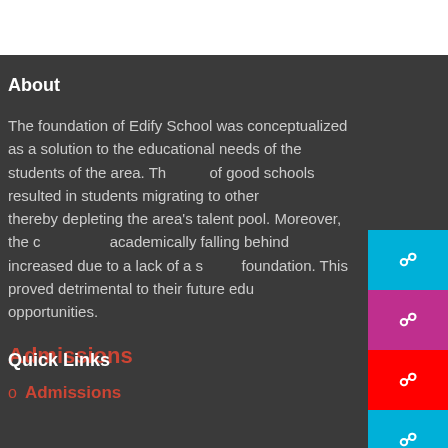About
The foundation of Edify School was conceptualized as a solution to the educational needs of the students of the area. The lack of good schools resulted in students migrating to other areas, thereby depleting the area's talent pool. Moreover, the chances of academically falling behind increased due to a lack of a strong foundation. This proved detrimental to their future educational opportunities.
Admissions
Quick Links
Admissions